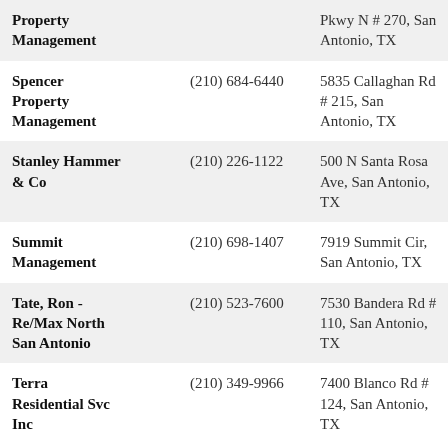| Name | Phone | Address |
| --- | --- | --- |
| Property Management |  | Pkwy N # 270, San Antonio, TX |
| Spencer Property Management | (210) 684-6440 | 5835 Callaghan Rd # 215, San Antonio, TX |
| Stanley Hammer & Co | (210) 226-1122 | 500 N Santa Rosa Ave, San Antonio, TX |
| Summit Management | (210) 698-1407 | 7919 Summit Cir, San Antonio, TX |
| Tate, Ron - Re/Max North San Antonio | (210) 523-7600 | 7530 Bandera Rd # 110, San Antonio, TX |
| Terra Residential Svc Inc | (210) 349-9966 | 7400 Blanco Rd # 124, San Antonio, TX |